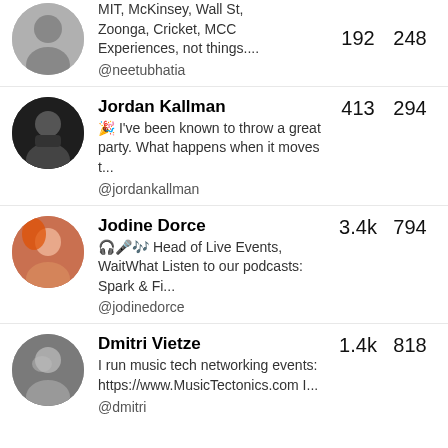MIT, McKinsey, Wall St, Zoonga, Cricket, MCC Experiences, not things.... @neetubhatia | 192 | 248
Jordan Kallman
🎉 I've been known to throw a great party. What happens when it moves t...
@jordankallman | 413 | 294
Jodine Dorce
🎧🎤🎶 Head of Live Events, WaitWhat Listen to our podcasts: Spark & Fi...
@jodinedorce | 3.4k | 794
Dmitri Vietze
I run music tech networking events: https://www.MusicTectonics.com I...
@dmitri | 1.4k | 818